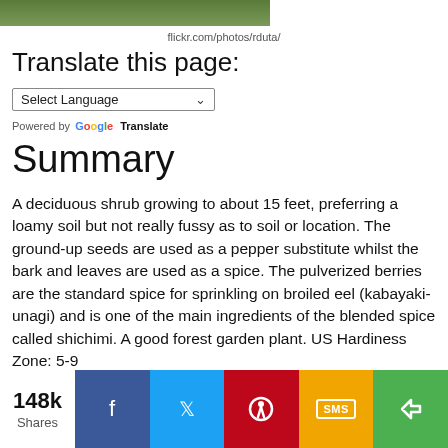[Figure (photo): Partial view of a plant/shrub photo (cropped at top)]
flickr.com/photos/rduta/
Translate this page:
Select Language (dropdown)
Powered by Google Translate
Summary
A deciduous shrub growing to about 15 feet, preferring a loamy soil but not really fussy as to soil or location. The ground-up seeds are used as a pepper substitute whilst the bark and leaves are used as a spice. The pulverized berries are the standard spice for sprinkling on broiled eel (kabayaki-unagi) and is one of the main ingredients of the blended spice called shichimi. A good forest garden plant. US Hardiness Zone: 5-9
[Figure (infographic): Social sharing bar: 148k Shares, Facebook, Twitter, Pinterest, SMS, Share buttons]